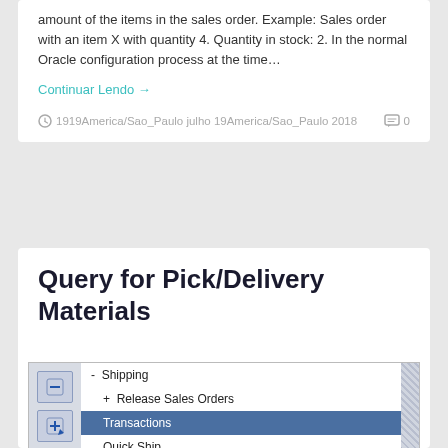amount of the items in the sales order. Example: Sales order with an item X with quantity 4. Quantity in stock: 2. In the normal Oracle configuration process at the time…
Continuar Lendo →
1919America/Sao_Paulo julho 19America/Sao_Paulo 2018   0
Query for Pick/Delivery Materials
[Figure (screenshot): Screenshot of an Oracle application menu showing: - Shipping, + Release Sales Orders, Transactions (highlighted in blue), Quick Ship. Left panel shows two blue icon buttons. Right side shows a scrollbar with a hatched pattern.]